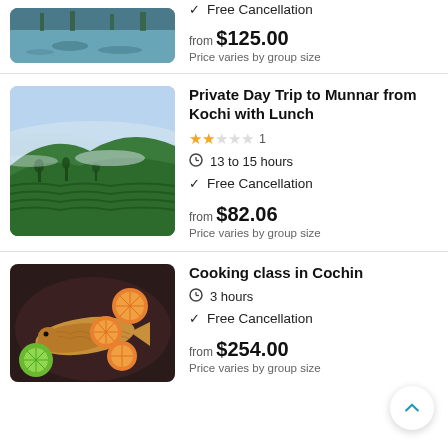[Figure (photo): Partial view of a scenic lake/water body with reflection, top portion of listing card]
✓ Free Cancellation
from $125.00
Price varies by group size
[Figure (photo): Tea plantation hills with mist, Munnar landscape]
Private Day Trip to Munnar from Kochi with Lunch
★★☆☆☆ 1
13 to 15 hours
✓ Free Cancellation
from $82.06
Price varies by group size
[Figure (photo): Cooked fish with orange slices and lime on a plate, cooking class listing]
Cooking class in Cochin
3 hours
✓ Free Cancellation
from $254.00
Price varies by group size